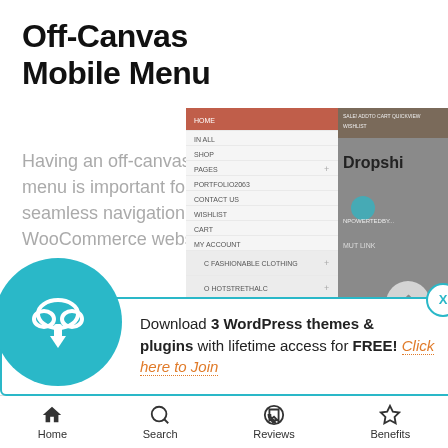Off-Canvas Mobile Menu
Having an off-canvas mobile menu is important for offering seamless navigation on your WooCommerce website.
[Figure (screenshot): Screenshot of a WooCommerce mobile menu interface showing navigation items and a product listing with 'Dropshi...' and 'Cross... Round...' visible]
[Figure (infographic): Download popup with teal circular icon (cloud with download arrow), text: Download 3 WordPress themes & plugins with lifetime access for FREE! Click here to Join. Has an X close button.]
Home   Search   Reviews   Benefits